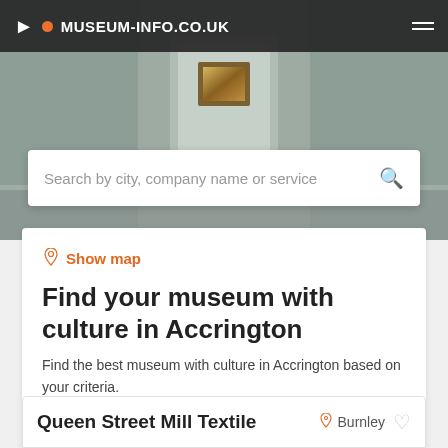MUSEUM-INFO.CO.UK
Search by city, company name or service
Show map
Find your museum with culture in Accrington
Find the best museum with culture in Accrington based on your criteria.
Filters
Queen Street Mill Textile
Burnley